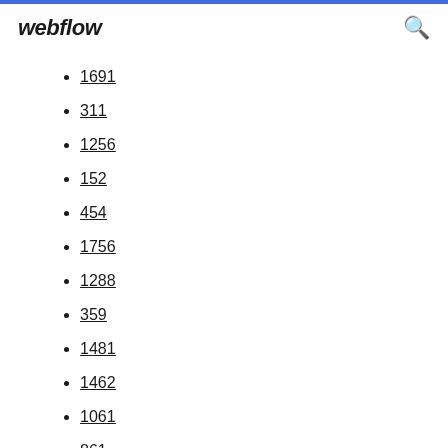webflow
1691
311
1256
152
454
1756
1288
359
1481
1462
1061
861